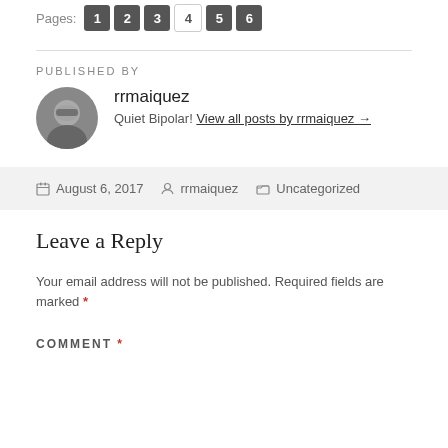Pages: 1 2 3 4 5 6
PUBLISHED BY
rrmaiquez
Quiet Bipolar! View all posts by rrmaiquez →
August 6, 2017   rrmaiquez   Uncategorized
Leave a Reply
Your email address will not be published. Required fields are marked *
COMMENT *